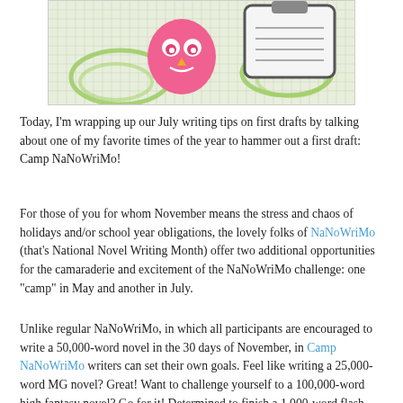[Figure (illustration): Colorful Camp NaNoWriMo illustration showing a pink owl character on a grid-paper background with green swirls and a notebook/clipboard graphic]
Today, I'm wrapping up our July writing tips on first drafts by talking about one of my favorite times of the year to hammer out a first draft: Camp NaNoWriMo!
For those of you for whom November means the stress and chaos of holidays and/or school year obligations, the lovely folks of NaNoWriMo (that's National Novel Writing Month) offer two additional opportunities for the camaraderie and excitement of the NaNoWriMo challenge: one "camp" in May and another in July.
Unlike regular NaNoWriMo, in which all participants are encouraged to write a 50,000-word novel in the 30 days of November, in Camp NaNoWriMo writers can set their own goals. Feel like writing a 25,000-word MG novel? Great! Want to challenge yourself to a 100,000-word high fantasy novel? Go for it! Determined to finish a 1,000-word flash fiction piece each day? That works, too!